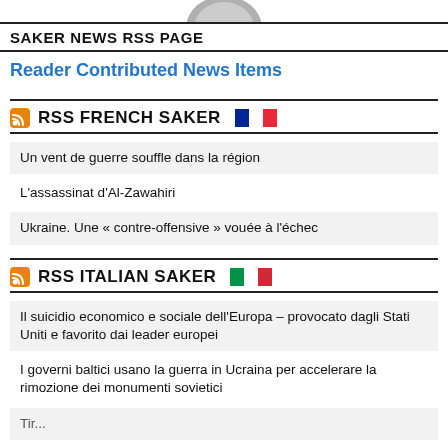[Figure (photo): Partial image of a circular object, cropped at top of page]
SAKER NEWS RSS PAGE
Reader Contributed News Items
RSS FRENCH SAKER
Un vent de guerre souffle dans la région
L'assassinat d'Al-Zawahiri
Ukraine. Une « contre-offensive » vouée à l'échec
RSS ITALIAN SAKER
Il suicidio economico e sociale dell'Europa – provocato dagli Stati Uniti e favorito dai leader europei
I governi baltici usano la guerra in Ucraina per accelerare la rimozione dei monumenti sovietici
Tir...